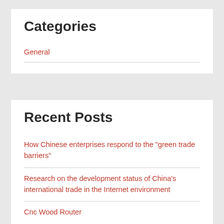Categories
General
Recent Posts
How Chinese enterprises respond to the “green trade barriers”
Research on the development status of China’s international trade in the Internet environment
Cnc Wood Router